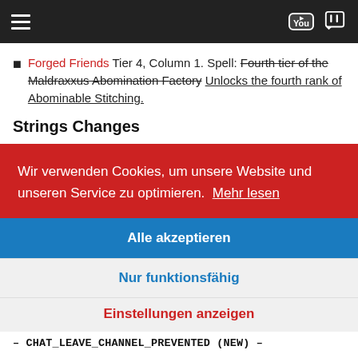Navigation bar with hamburger menu, YouTube and Twitch icons
Forged Friends Tier 4, Column 1. Spell: Fourth tier of the Maldraxxus Abomination Factory Unlocks the fourth rank of Abominable Stitching.
Strings Changes
Wir verwenden Cookies, um unsere Website und unseren Service zu optimieren. Mehr lesen
Alle akzeptieren
Nur funktionsfähig
Einstellungen anzeigen
CHAT_LEAVE_CHANNEL_PREVENTED (NEW) –